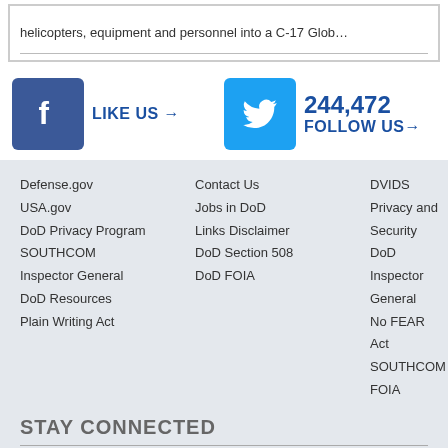helicopters, equipment and personnel into a C-17 Glob…
[Figure (infographic): Facebook Like Us button with blue Facebook icon and 'LIKE US →' text; Twitter Follow Us button with blue Twitter bird icon, '244,472' count, and 'FOLLOW US→' text]
Defense.gov
USA.gov
DoD Privacy Program
SOUTHCOM Inspector General
DoD Resources
Plain Writing Act
Contact Us
Jobs in DoD
Links Disclaimer
DoD Section 508
DoD FOIA
DVIDS
Privacy and Security
DoD Inspector General
No FEAR Act
SOUTHCOM FOIA
STAY CONNECTED
[Figure (infographic): Row of four dark gray circular social media icons: Facebook, Twitter, YouTube, Instagram]
SOUTHCOM COMPONENTS
10th Air Force / Air Force South…